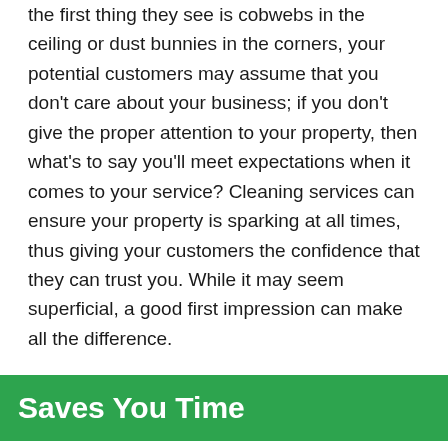the first thing they see is cobwebs in the ceiling or dust bunnies in the corners, your potential customers may assume that you don't care about your business; if you don't give the proper attention to your property, then what's to say you'll meet expectations when it comes to your service? Cleaning services can ensure your property is sparking at all times, thus giving your customers the confidence that they can trust you. While it may seem superficial, a good first impression can make all the difference.
Saves You Time
As a business owner or manager, you have a hundred responsibilities on your plate at any given time, so why deal with one more? By hiring a cleaning service, you can be sure that the job will be done well without you having to find time in your own schedule to do it.